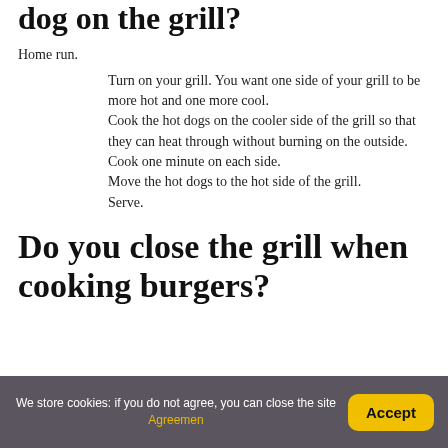dog on the grill?
Home run.
Turn on your grill. You want one side of your grill to be more hot and one more cool. Cook the hot dogs on the cooler side of the grill so that they can heat through without burning on the outside. Cook one minute on each side. Move the hot dogs to the hot side of the grill. Serve.
Do you close the grill when cooking burgers?
We store cookies: if you do not agree, you can close the site Agreemen